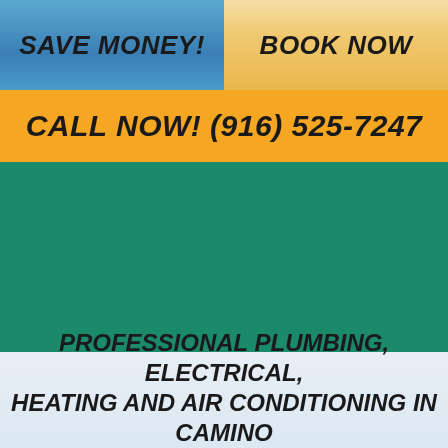SAVE MONEY!
BOOK NOW
CALL NOW! (916) 525-7247
[Figure (illustration): Large teal/green background section, likely containing a service image]
PROFESSIONAL PLUMBING, ELECTRICAL, HEATING AND AIR CONDITIONING IN CAMINO